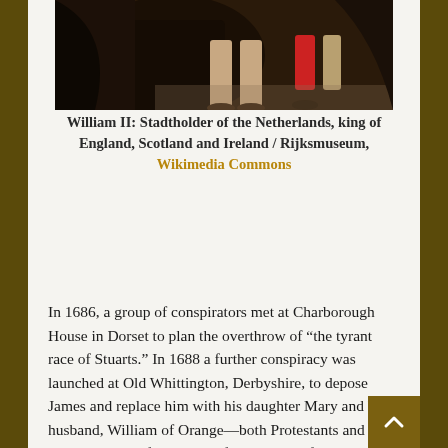[Figure (photo): Bottom portion of a historical portrait painting showing legs and feet of figures, dark background, one figure wearing red stocking/hose]
William II: Stadtholder of the Netherlands, king of England, Scotland and Ireland / Rijksmuseum, Wikimedia Commons
In 1686, a group of conspirators met at Charborough House in Dorset to plan the overthrow of “the tyrant race of Stuarts.” In 1688 a further conspiracy was launched at Old Whittington, Derbyshire, to depose James and replace him with his daughter Mary and her husband, William of Orange—both Protestants and both grandchildren of Charles I of England. Before the birth of James’s son, Mary was the